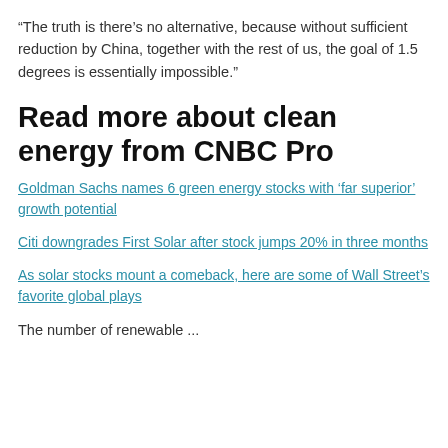“The truth is there’s no alternative, because without sufficient reduction by China, together with the rest of us, the goal of 1.5 degrees is essentially impossible.”
Read more about clean energy from CNBC Pro
Goldman Sachs names 6 green energy stocks with ‘far superior’ growth potential
Citi downgrades First Solar after stock jumps 20% in three months
As solar stocks mount a comeback, here are some of Wall Street’s favorite global plays
The number of renewable ...